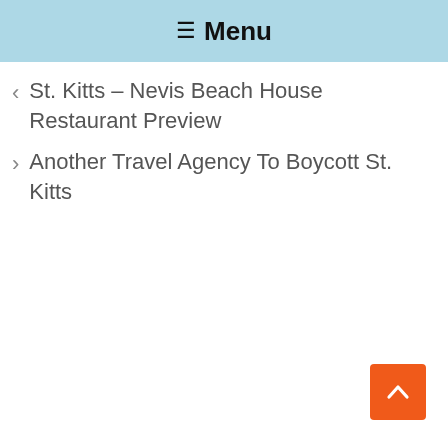☰ Menu
< St. Kitts – Nevis Beach House Restaurant Preview
> Another Travel Agency To Boycott St. Kitts